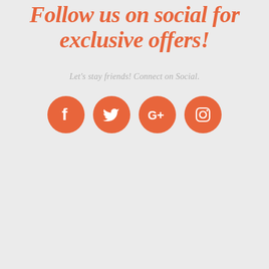Follow us on social for exclusive offers!
Let's stay friends! Connect on Social.
[Figure (infographic): Four orange circular social media icons: Facebook, Twitter, Google+, Instagram]